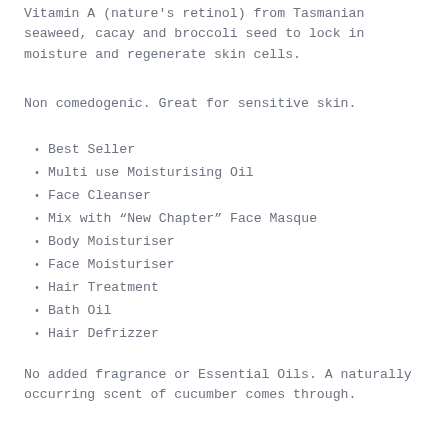Vitamin A (nature's retinol) from Tasmanian seaweed, cacay and broccoli seed to lock in moisture and regenerate skin cells.
Non comedogenic. Great for sensitive skin.
Best Seller
Multi use Moisturising Oil
Face Cleanser
Mix with “New Chapter” Face Masque
Body Moisturiser
Face Moisturiser
Hair Treatment
Bath Oil
Hair Defrizzer
No added fragrance or Essential Oils. A naturally occurring scent of cucumber comes through.